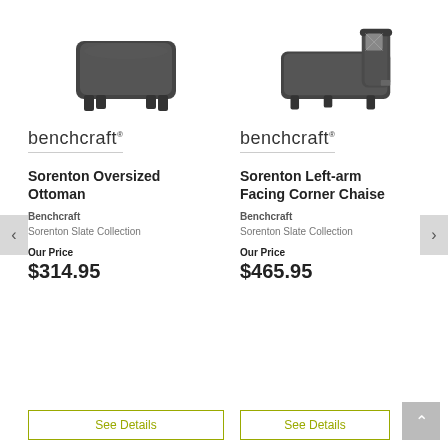[Figure (photo): Photo of Sorenton Oversized Ottoman, dark gray upholstered square ottoman furniture product image]
[Figure (photo): Photo of Sorenton Left-arm Facing Corner Chaise, dark gray upholstered chaise with decorative pillow]
[Figure (logo): benchcraft brand logo, left column]
Sorenton Oversized Ottoman
Benchcraft
Sorenton Slate Collection
Our Price
$314.95
[Figure (logo): benchcraft brand logo, right column]
Sorenton Left-arm Facing Corner Chaise
Benchcraft
Sorenton Slate Collection
Our Price
$465.95